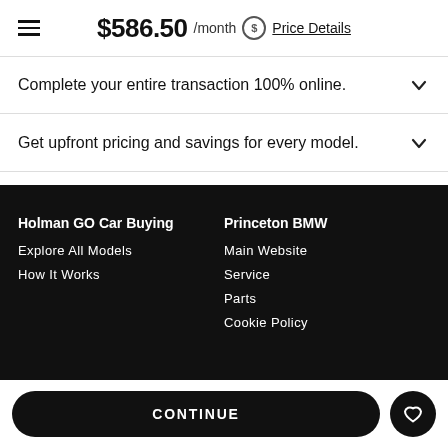$586.50 /month  Price Details
Complete your entire transaction 100% online.
Get upfront pricing and savings for every model.
Holman GO Car Buying
Explore All Models
How It Works
Princeton BMW
Main Website
Service
Parts
Cookie Policy
CONTINUE